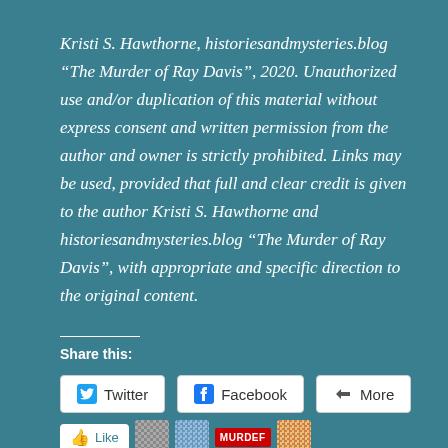Kristi S. Hawthorne, historiesandmysteries.blog “The Murder of Ray Davis”, 2020. Unauthorized use and/or duplication of this material without express consent and written permission from the author and owner is strictly prohibited. Links may be used, provided that full and clear credit is given to the author Kristi S. Hawthorne and historiesandmysteries.blog “The Murder of Ray Davis”, with appropriate and specific direction to the original content.
Share this:
[Figure (screenshot): Share buttons: Twitter, Facebook, More]